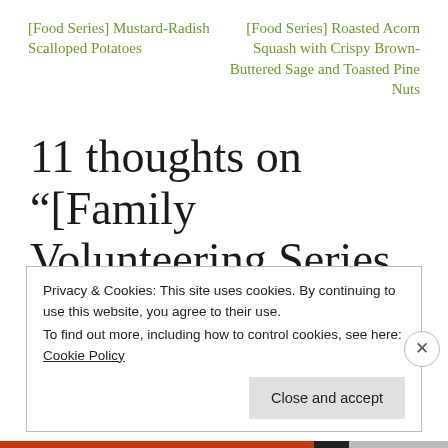[Food Series] Mustard-Radish Scalloped Potatoes
[Food Series] Roasted Acorn Squash with Crispy Brown-Buttered Sage and Toasted Pine Nuts
11 thoughts on “[Family Volunteering Series Pt. 3] Ballona Wetlands Restoration
Privacy & Cookies: This site uses cookies. By continuing to use this website, you agree to their use.
To find out more, including how to control cookies, see here: Cookie Policy
Close and accept